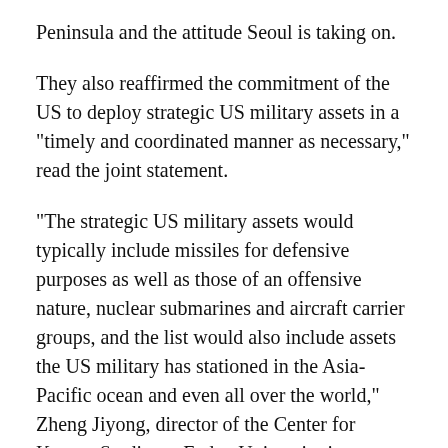Peninsula and the attitude Seoul is taking on.
They also reaffirmed the commitment of the US to deploy strategic US military assets in a "timely and coordinated manner as necessary," read the joint statement.
"The strategic US military assets would typically include missiles for defensive purposes as well as those of an offensive nature, nuclear submarines and aircraft carrier groups, and the list would also include assets the US military has stationed in the Asia-Pacific ocean and even all over the world," Zheng Jiyong, director of the Center for Korean Studies at Fudan University in Shanghai, told the Global Times.